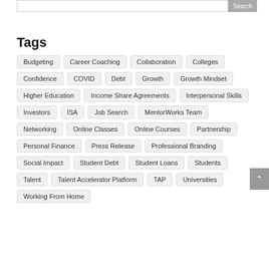Tags
Budgeting
Career Coaching
Collaboration
Colleges
Confidence
COVID
Debt
Growth
Growth Mindset
Higher Education
Income Share Agreements
Interpersonal Skills
Investors
ISA
Job Search
MentorWorks Team
Networking
Online Classes
Online Courses
Partnership
Personal Finance
Press Release
Professional Branding
Social Impact
Student Debt
Student Loans
Students
Talent
Talent Accelerator Platform
TAP
Universities
Working From Home